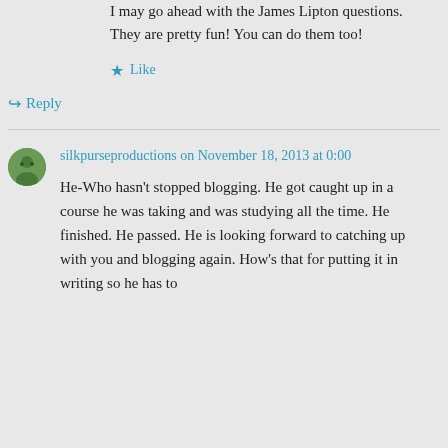I may go ahead with the James Lipton questions. They are pretty fun! You can do them too!
★ Like
↪ Reply
silkpurseproductions on November 18, 2013 at 0:00
He-Who hasn't stopped blogging. He got caught up in a course he was taking and was studying all the time. He finished. He passed. He is looking forward to catching up with you and blogging again. How's that for putting it in writing so he has to